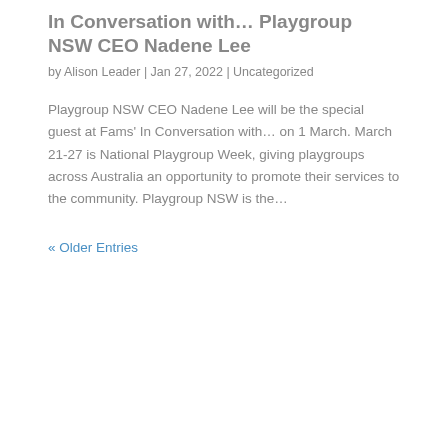In Conversation with… Playgroup NSW CEO Nadene Lee
by Alison Leader | Jan 27, 2022 | Uncategorized
Playgroup NSW CEO Nadene Lee will be the special guest at Fams' In Conversation with… on 1 March. March 21-27 is National Playgroup Week, giving playgroups across Australia an opportunity to promote their services to the community. Playgroup NSW is the…
« Older Entries